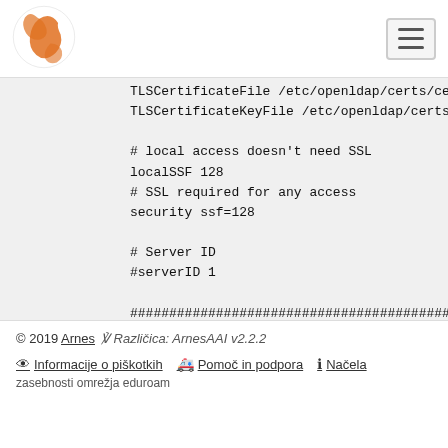[Figure (logo): Arnes logo — orange stylized figure on white background, top left of navigation bar]
TLSCertificateFile /etc/openldap/certs/cert.pem
TLSCertificateKeyFile /etc/openldap/certs/key.p

# local access doesn't need SSL
localSSF 128
# SSL required for any access
security ssf=128

# Server ID
#serverID 1

###############################################
# Global ACLs
access to *
    by dn.exact="gidNumber=0+uidNumber=0,cn=peer
    by dn.exact="cn=root,dc=os-prva,dc=si" manag
    by * break
© 2019 Arnes   ℣ Različica: ArnesAAI v2.2.2
👁 Informacije o piškotkih   🚑 Pomoč in podpora   ℹ Načela zasebnosti omrežja eduroam